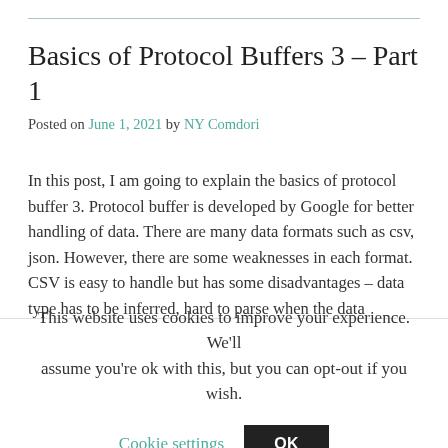Basics of Protocol Buffers 3 – Part 1
Posted on June 1, 2021 by NY Comdori
In this post, I am going to explain the basics of protocol buffer 3. Protocol buffer is developed by Google for better handling of data. There are many data formats such as csv, json. However, there are some weaknesses in each format. CSV is easy to handle but has some disadvantages – data type has to be inferred, hard to parse when the data includes commas. JSON is used in many places and can be communicated over the web and very flexible in format but it doesn't have schema enforcing and JSON objects could be pretty big size because
This website uses cookies to improve your experience. We'll assume you're ok with this, but you can opt-out if you wish.
Cookie settings    OK